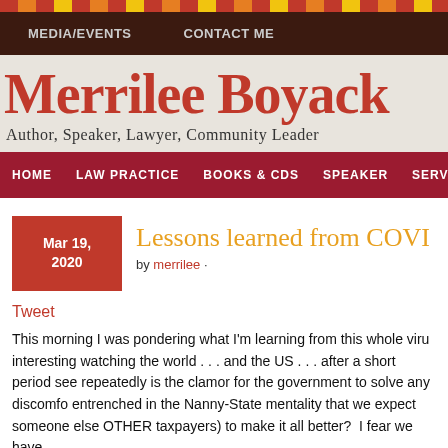MEDIA/EVENTS    CONTACT ME
Merrilee Boyack
Author, Speaker, Lawyer, Community Leader
HOME    LAW PRACTICE    BOOKS & CDS    SPEAKER    SERVICE
Lessons learned from COVI
Mar 19, 2020
by merrilee ·
Tweet
This morning I was pondering what I'm learning from this whole viru interesting watching the world . . . and the US . . . after a short period see repeatedly is the clamor for the government to solve any discomfo entrenched in the Nanny-State mentality that we expect someone else OTHER taxpayers) to make it all better?  I fear we have.